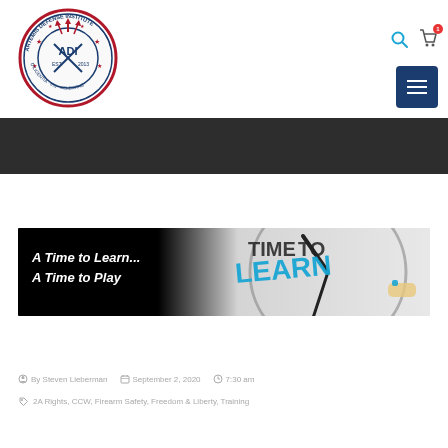[Figure (logo): Artemis Defense Institute circular logo with arrows and shield]
[Figure (illustration): Navigation icons: search (magnifying glass), shopping cart with red badge, dark blue hamburger menu button]
[Figure (illustration): Dark banner / navigation bar strip]
[Figure (photo): Article header image: black left side with white bold italic text 'A Time to Learn... A Time to Play', right side shows a clock face with 'TIME TO LEARN' text and a hand writing in blue marker]
By Steven Lieberman   September 2, 2020   7:30 am
2A Rights, CCW, Firearm Safety, Freedom & Liberty, Training